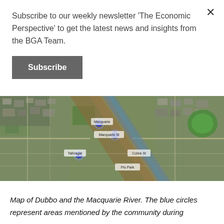Subscribe to our weekly newsletter 'The Economic Perspective' to get the latest news and insights from the BGA Team.
Subscribe
[Figure (map): Aerial/satellite map of Dubbo and the Macquarie River with blue circle markers indicating areas mentioned by the community.]
Map of Dubbo and the Macquarie River. The blue circles represent areas mentioned by the community during